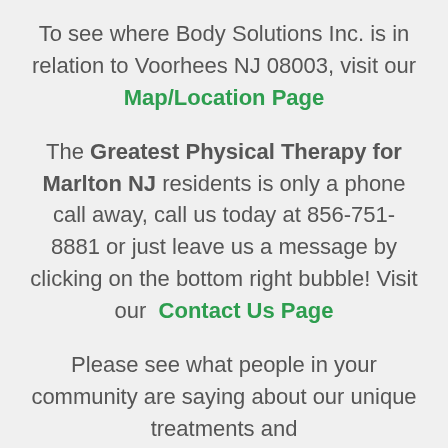To see where Body Solutions Inc. is in relation to Voorhees NJ 08003, visit our Map/Location Page
The Greatest Physical Therapy for Marlton NJ residents is only a phone call away, call us today at 856-751-8881 or just leave us a message by clicking on the bottom right bubble! Visit our Contact Us Page
Please see what people in your community are saying about our unique treatments and